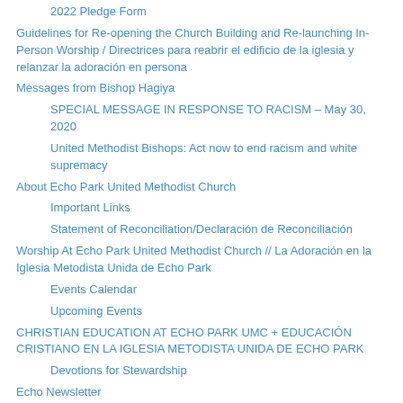2022 Pledge Form
Guidelines for Re-opening the Church Building and Re-launching In-Person Worship / Directrices para reabrir el edificio de la iglesia y relanzar la adoración en persona
Messages from Bishop Hagiya
SPECIAL MESSAGE IN RESPONSE TO RACISM – May 30, 2020
United Methodist Bishops: Act now to end racism and white supremacy
About Echo Park United Methodist Church
Important Links
Statement of Reconciliation/Declaración de Reconciliación
Worship At Echo Park United Methodist Church // La Adoración en la Iglesia Metodista Unida de Echo Park
Events Calendar
Upcoming Events
CHRISTIAN EDUCATION AT ECHO PARK UMC + EDUCACIÓN CRISTIANO EN LA IGLESIA METODISTA UNIDA DE ECHO PARK
Devotions for Stewardship
Echo Newsletter